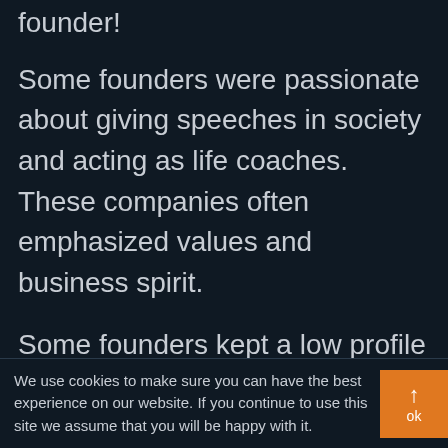founder!
Some founders were passionate about giving speeches in society and acting as life coaches. These companies often emphasized values and business spirit.
Some founders kept a low profile and never showed their faces. Then, this company would often be humble, down-to-earth, and pragmatic.
We use cookies to make sure you can have the best experience on our website. If you continue to use this site we assume that you will be happy with it.